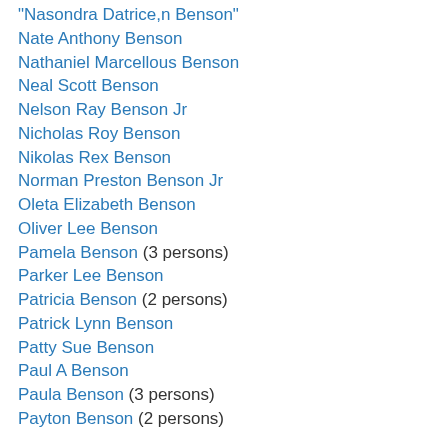"Nasondra Datrice,n Benson"
Nate Anthony Benson
Nathaniel Marcellous Benson
Neal Scott Benson
Nelson Ray Benson Jr
Nicholas Roy Benson
Nikolas Rex Benson
Norman Preston Benson Jr
Oleta Elizabeth Benson
Oliver Lee Benson
Pamela Benson (3 persons)
Parker Lee Benson
Patricia Benson (2 persons)
Patrick Lynn Benson
Patty Sue Benson
Paul A Benson
Paula Benson (3 persons)
Payton Benson (2 persons)